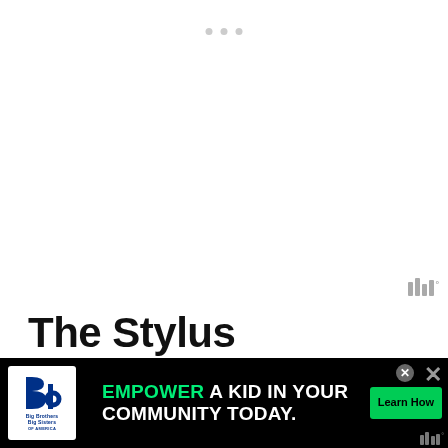[Figure (screenshot): White content area with navigation dots at top and a watermark logo (bar chart style with superscript degree symbol) at bottom right]
The Stylus
You're probably familiar with the stylus from classic m... from and
[Figure (infographic): Advertisement overlay: Big Brothers Big Sisters of America logo on left, green 'EMPOWER' text followed by white 'A KID IN YOUR COMMUNITY TODAY.' with green 'Learn How' button, close buttons on right, and watermark logo at bottom right]